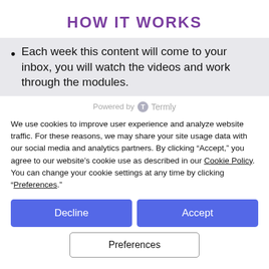HOW IT WORKS
Each week this content will come to your inbox, you will watch the videos and work through the modules.
Powered by Termly
We use cookies to improve user experience and analyze website traffic. For these reasons, we may share your site usage data with our social media and analytics partners. By clicking “Accept,” you agree to our website’s cookie use as described in our Cookie Policy. You can change your cookie settings at any time by clicking “Preferences.”